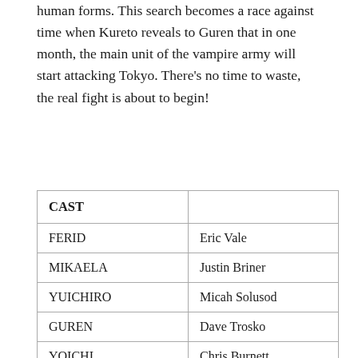human forms. This search becomes a race against time when Kureto reveals to Guren that in one month, the main unit of the vampire army will start attacking Tokyo. There's no time to waste, the real fight is about to begin!
| CAST |  |
| --- | --- |
| FERID | Eric Vale |
| MIKAELA | Justin Briner |
| YUICHIRO | Micah Solusod |
| GUREN | Dave Trosko |
| YOICHI | Chris Burnett |
| SHINOA | Felecia Angelle |
| KIMIZUKI | Scott… |